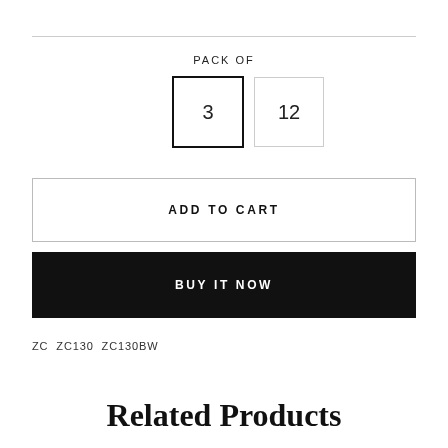PACK OF
3   12
ADD TO CART
BUY IT NOW
ZC ZC130 ZC130BW
Related Products